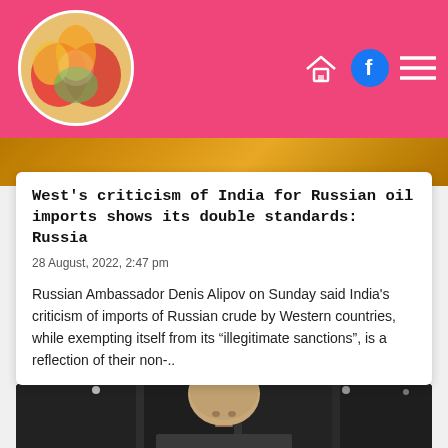[Figure (photo): Colorful circular logo with red and other colors, used as a website/blog logo]
West's criticism of India for Russian oil imports shows its double standards: Russia
28 August, 2022, 2:47 pm
Russian Ambassador Denis Alipov on Sunday said India's criticism of imports of Russian crude by Western countries, while exempting itself from its "illegitimate sanctions", is a reflection of their non-..
[Figure (photo): Photo of a bald man, appears to be in an indoor setting with dark background shelving/display units]